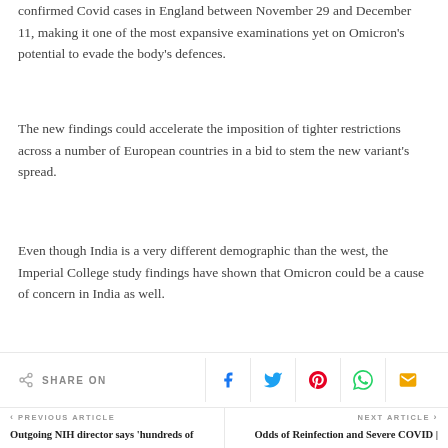confirmed Covid cases in England between November 29 and December 11, making it one of the most expansive examinations yet on Omicron's potential to evade the body's defences.
The new findings could accelerate the imposition of tighter restrictions across a number of European countries in a bid to stem the new variant's spread.
Even though India is a very different demographic than the west, the Imperial College study findings have shown that Omicron could be a cause of concern in India as well.
SHARE ON
‹ PREVIOUS ARTICLE
Outgoing NIH director says 'hundreds of thousands would have died' from COVID if US
NEXT ARTICLE ›
Odds of Reinfection and Severe COVID | Natural vs Vaccinated immunity vs